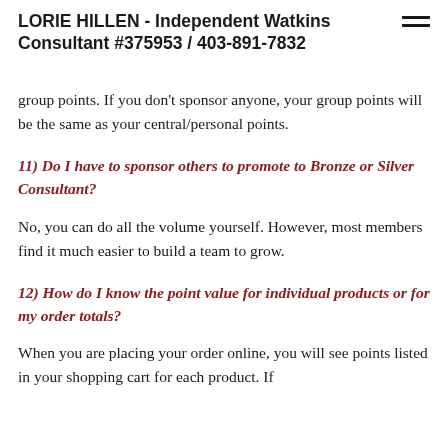LORIE HILLEN - Independent Watkins Consultant #375953 / 403-891-7832
group points. If you don't sponsor anyone, your group points will be the same as your central/personal points.
11) Do I have to sponsor others to promote to Bronze or Silver Consultant?
No, you can do all the volume yourself. However, most members find it much easier to build a team to grow.
12) How do I know the point value for individual products or for my order totals?
When you are placing your order online, you will see points listed in your shopping cart for each product. If